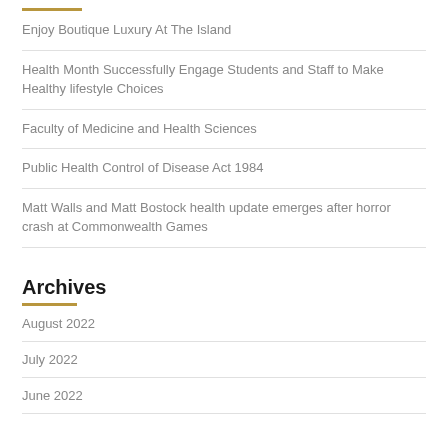Enjoy Boutique Luxury At The Island
Health Month Successfully Engage Students and Staff to Make Healthy lifestyle Choices
Faculty of Medicine and Health Sciences
Public Health Control of Disease Act 1984
Matt Walls and Matt Bostock health update emerges after horror crash at Commonwealth Games
Archives
August 2022
July 2022
June 2022